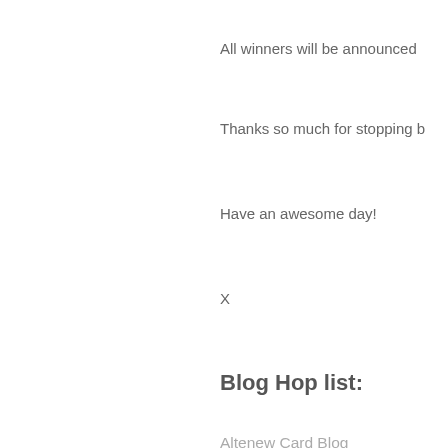All winners will be announced
Thanks so much for stopping b
Have an awesome day!
X
Blog Hop list:
Altenew Card Blog
May Sukyong Park
Therese Calvird
Erum Tasneem
Virginia Lu
Lilith Eeckels
Laurie Willison
Svitlana Shayevich
Sandra Dietrich
Nicole Picadura
Enza Gudor
Norine Renis